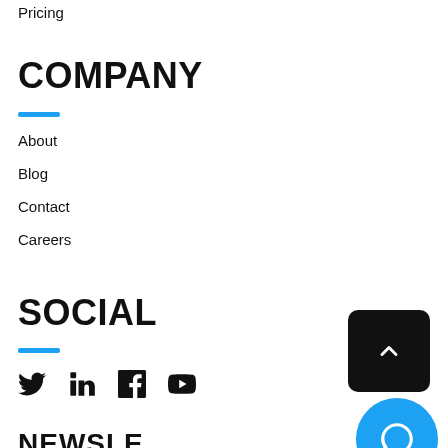Pricing
COMPANY
About
Blog
Contact
Careers
SOCIAL
[Figure (illustration): Social media icons: Twitter, LinkedIn, Facebook, YouTube]
[Figure (illustration): Scroll-to-top button (dark square with chevron up)]
[Figure (illustration): Chat/support button (blue circle with chat icon)]
NEWSLETTER (partial, cut off)